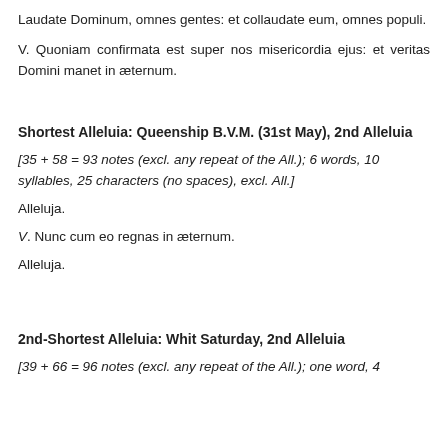Laudate Dominum, omnes gentes: et collaudate eum, omnes populi.
V. Quoniam confirmata est super nos misericordia ejus: et veritas Domini manet in æternum.
Shortest Alleluia: Queenship B.V.M. (31st May), 2nd Alleluia
[35 + 58 = 93 notes (excl. any repeat of the All.); 6 words, 10 syllables, 25 characters (no spaces), excl. All.]
Alleluja.
V. Nunc cum eo regnas in æternum.
Alleluja.
2nd-Shortest Alleluia: Whit Saturday, 2nd Alleluia
[39 + 66 = 96 notes (excl. any repeat of the All.); one word, 4 syllables...